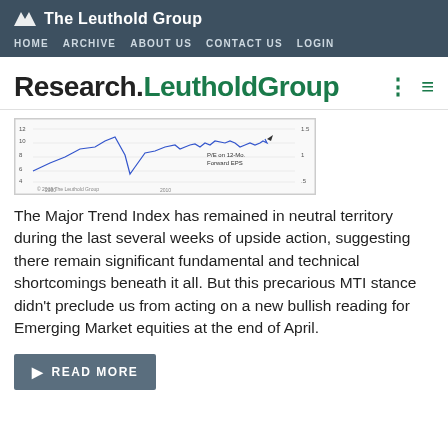The Leuthold Group — HOME  ARCHIVE  ABOUT US  CONTACT US  LOGIN
Research.LeutholdGroup
[Figure (continuous-plot): A financial line chart showing P/E on 12-Mo. Forward EPS over time, with x-axis showing years around 2000-2019, y-axis ticks from about 4 to 12. Blue line chart with a dip and recovery. Copyright 2019 The Leuthold Group.]
The Major Trend Index has remained in neutral territory during the last several weeks of upside action, suggesting there remain significant fundamental and technical shortcomings beneath it all. But this precarious MTI stance didn't preclude us from acting on a new bullish reading for Emerging Market equities at the end of April.
READ MORE